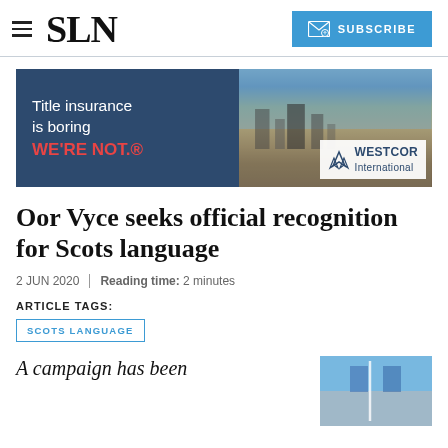SLN
[Figure (illustration): Westcor International title insurance advertisement banner. Left side shows dark blue background with text 'Title insurance is boring WE'RE NOT.®'. Right side shows a photo of a Scottish city (Edinburgh) with the Westcor International logo.]
Oor Vyce seeks official recognition for Scots language
2 JUN 2020  |  Reading time: 2 minutes
ARTICLE TAGS:
SCOTS LANGUAGE
A campaign has been